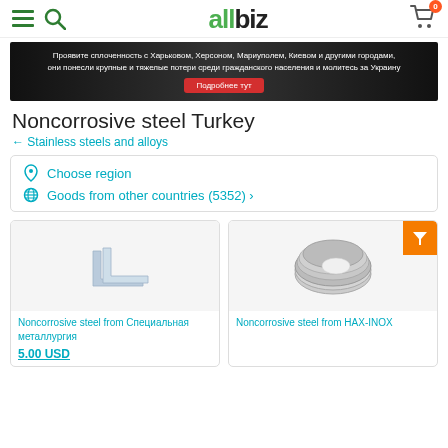allbiz
[Figure (photo): Dark banner with Russian text about solidarity with Ukrainian cities, red button 'Подробнее тут']
Noncorrosive steel Turkey
← Stainless steels and alloys
Choose region
Goods from other countries (5352) >
[Figure (photo): Stainless steel angle/channel product photo]
Noncorrosive steel from Специальная металлургия
5.00 USD
[Figure (photo): Coiled stainless steel wire product photo]
Noncorrosive steel from HAX-INOX